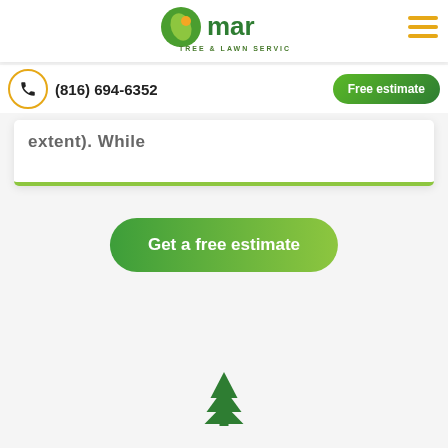[Figure (logo): Omar Tree & Lawn Service logo with green leaf/tree icon and company name]
[Figure (other): Hamburger menu icon with three yellow/orange horizontal lines]
(816) 694-6352
Free estimate
extent). While
Get a free estimate
[Figure (illustration): Green tree/evergreen icon at the bottom center of the page]